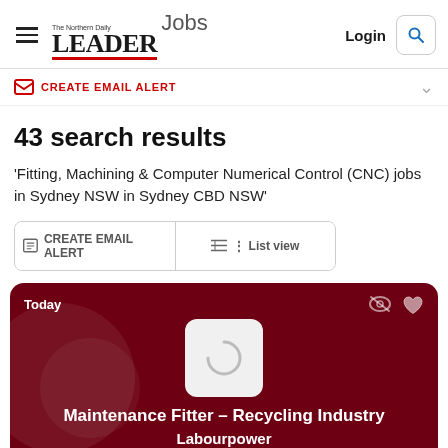The Northern Daily LEADER Jobs | Login
CREATE EMAIL ALERT
43 search results
'Fitting, Machining & Computer Numerical Control (CNC) jobs in Sydney NSW in Sydney CBD NSW'
CREATE EMAIL ALERT | List view
Today | Maintenance Fitter – Recycling Industry | Labourpower | Smithfield NSW 2164